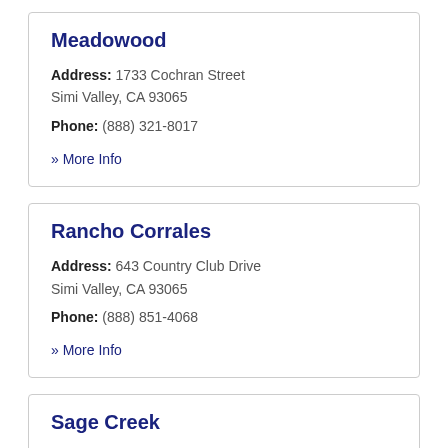Meadowood
Address: 1733 Cochran Street Simi Valley, CA 93065
Phone: (888) 321-8017
» More Info
Rancho Corrales
Address: 643 Country Club Drive Simi Valley, CA 93065
Phone: (888) 851-4068
» More Info
Sage Creek
Address: 1930 Yosemite Avenue